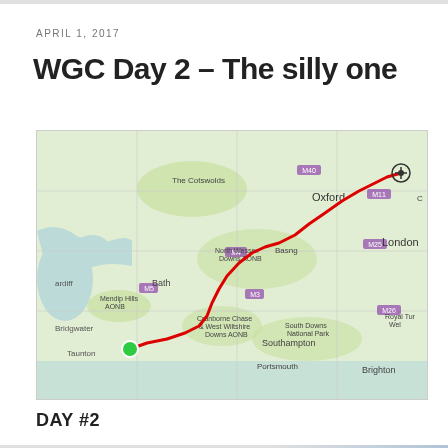APRIL 1, 2017
WGC Day 2 – The silly one
[Figure (map): Map of England/Wales showing a red route line from a green start point near Taunton/Bridgwater area in Somerset, travelling northeast through Cranborne Chase, North Wessex Downs AONB, through Basingstoke area, past Oxford, ending at a marked destination in the upper right. Places visible: The Cotswolds, Oxford, Bath, Mendip Hills AONB, Bridgwater, Taunton, North Wessex Downs AONB, London, Southampton, Portsmouth, Brighton, Royal Tunbridge Wells, South Downs National Park.]
DAY #2